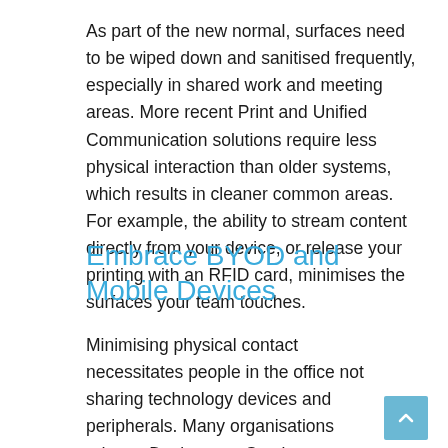As part of the new normal, surfaces need to be wiped down and sanitised frequently, especially in shared work and meeting areas. More recent Print and Unified Communication solutions require less physical interaction than older systems, which results in cleaner common areas. For example, the ability to stream content directly from your device, or release your printing with an RFID card, minimises the surfaces your team touches.
Embrace BYOD and Mobile Devices
Minimising physical contact necessitates people in the office not sharing technology devices and peripherals. Many organisations adopt a Device as a Service program to give each staff member the device they